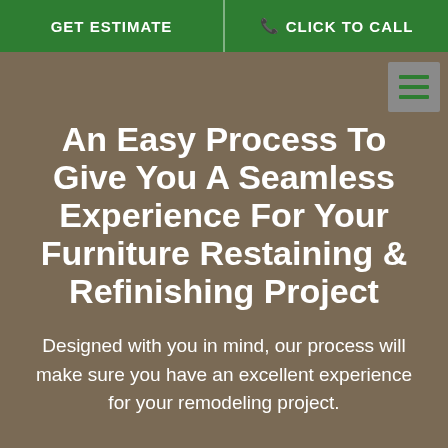GET ESTIMATE    CLICK TO CALL
An Easy Process To Give You A Seamless Experience For Your Furniture Restaining & Refinishing Project
Designed with you in mind, our process will make sure you have an excellent experience for your remodeling project.